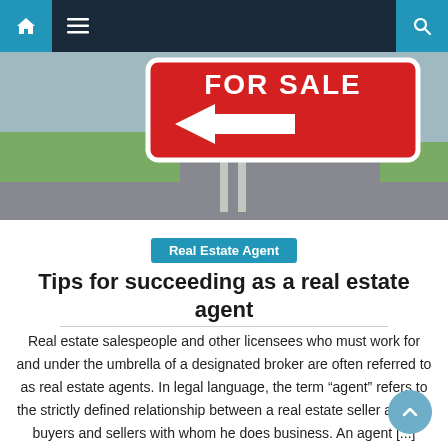Navigation bar with home, menu, and search icons
[Figure (photo): A red 'FOR SALE' sign with a white arrow pointing left, set on a suburban street with green grass and pavement in the background.]
Real Estate Agent
Tips for succeeding as a real estate agent
Real estate salespeople and other licensees who must work for and under the umbrella of a designated broker are often referred to as real estate agents. In legal language, the term “agent” refers to the strictly defined relationship between a real estate seller and the buyers and sellers with whom he does business. An agent [...]